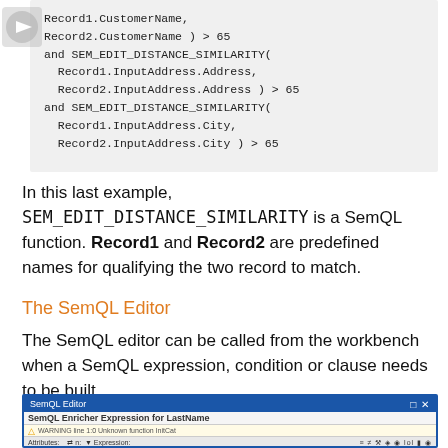[Figure (screenshot): Code block showing SEM_EDIT_DISTANCE_SIMILARITY function calls with Record1.CustomerName, Record2.CustomerName > 65, SEM_EDIT_DISTANCE_SIMILARITY(Record1.InputAddress.Address, Record2.InputAddress.Address) > 65, and SEM_EDIT_DISTANCE_SIMILARITY(Record1.InputAddress.City, Record2.InputAddress.City) > 65]
In this last example, SEM_EDIT_DISTANCE_SIMILARITY is a SemQL function. Record1 and Record2 are predefined names for qualifying the two record to match.
The SemQL Editor
The SemQL editor can be called from the workbench when a SemQL expression, condition or clause needs to be built.
[Figure (screenshot): SemQL Editor dialog window showing SemQL Enricher Expression for LastName, a warning about unknown function InitCat, attributes panel on the left with Load ID, Publisher ID, Source ID, Class Name and more, and an expression panel on the right showing InitCat(FirstName) + Upper(LastName)]